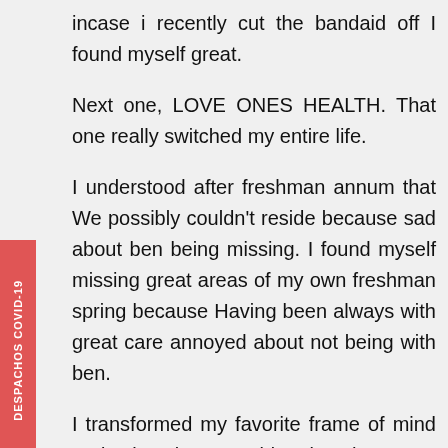incase i recently cut the bandaid off I found myself great.
Next one, LOVE ONES HEALTH. That one really switched my entire life.
I understood after freshman annum that We possibly couldn't reside because sad about ben being missing. I found myself missing great areas of my own freshman spring because Having been always with great care annoyed about not being with ben.
I transformed my favorite frame of mind and taken into consideration the way I are considering or thinking about getting with Ben throughout my life and they finally 3 years are merely energy i